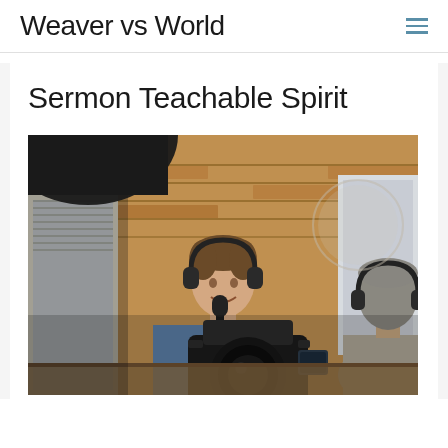Weaver vs World
Sermon Teachable Spirit
[Figure (photo): Two people in a podcast studio setting with headphones and microphones, a camera in the foreground, brick walls and windows in the background. One person in a blue shirt faces the camera smiling, the other with grey hair faces away.]